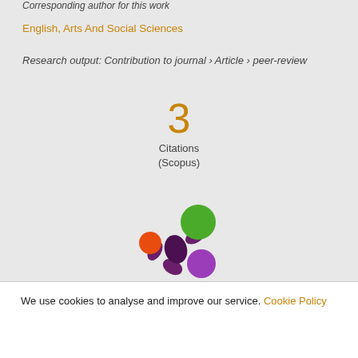Corresponding author for this work
English, Arts And Social Sciences
Research output: Contribution to journal › Article › peer-review
3
Citations
(Scopus)
[Figure (logo): Altmetric logo — a colorful splash/asterisk shape with green, orange, purple circles]
We use cookies to analyse and improve our service. Cookie Policy